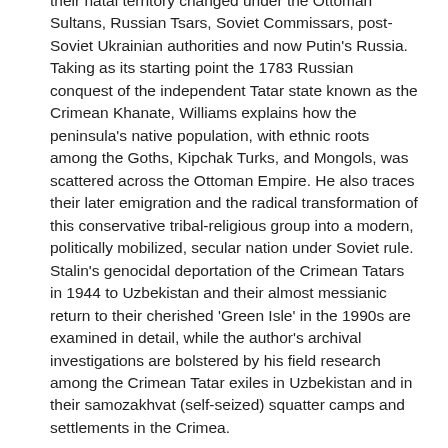their natal territory changed under the Ottoman Sultans, Russian Tsars, Soviet Commissars, post-Soviet Ukrainian authorities and now Putin's Russia. Taking as its starting point the 1783 Russian conquest of the independent Tatar state known as the Crimean Khanate, Williams explains how the peninsula's native population, with ethnic roots among the Goths, Kipchak Turks, and Mongols, was scattered across the Ottoman Empire. He also traces their later emigration and the radical transformation of this conservative tribal-religious group into a modern, politically mobilized, secular nation under Soviet rule. Stalin's genocidal deportation of the Crimean Tatars in 1944 to Uzbekistan and their almost messianic return to their cherished 'Green Isle' in the 1990s are examined in detail, while the author's archival investigations are bolstered by his field research among the Crimean Tatar exiles in Uzbekistan and in their samozakhvat (self-seized) squatter camps and settlements in the Crimea.